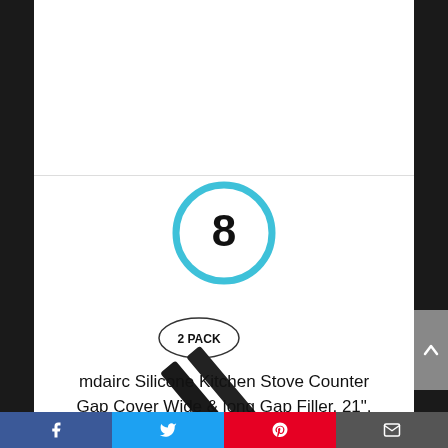[Figure (other): Number 8 inside a light blue circle ring]
[Figure (photo): Two black silicone gap fillers/strips displayed diagonally with a '2 PACK' label badge]
mdairc Silicone Kitchen Stove Counter Gap Cover Wide & long Gap Filler, 21", Seals Spills Between Appliances: Counter, Stovetop, Washing Machine, Oven, Washer
Social share bar with Facebook, Twitter, Pinterest, and Email buttons